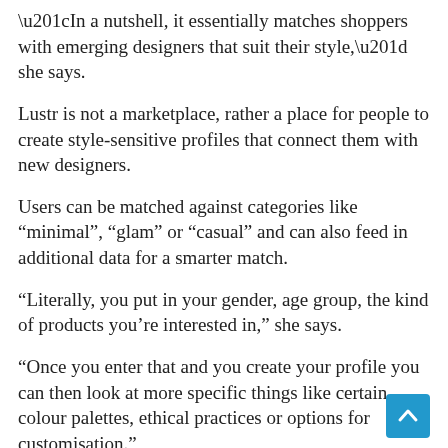“In a nutshell, it essentially matches shoppers with emerging designers that suit their style,” she says.
Lustr is not a marketplace, rather a place for people to create style-sensitive profiles that connect them with new designers.
Users can be matched against categories like “minimal”, “glam” or “casual” and can also feed in additional data for a smarter match.
“Literally, you put in your gender, age group, the kind of products you’re interested in,” she says.
“Once you enter that and you create your profile you can then look at more specific things like certain colour palettes, ethical practices or options for customisation.”
The driving force of Lustr will be the community it creates, allowing customers to interact with one another and...